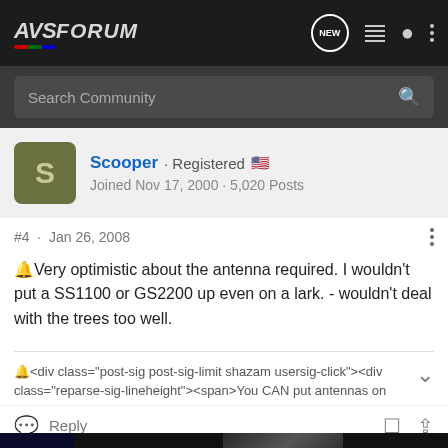AVSForum
Search Community
Scooper · Registered 🇺🇸
Joined Nov 17, 2000 · 5,020 Posts
#4 · Jan 26, 2008
🔔Very optimistic about the antenna required. I wouldn't put a SS1100 or GS2200 up even on a lark. - wouldn't deal with the trees too well.
🔔<div class="post-sig post-sig-limit shazam usersig-click"><div class="reparse-sig-lineheight"><span>You CAN put antennas on
Reply
[Figure (screenshot): SVS SoundPath Audio Accessories advertisement banner with logo and Learn More button]